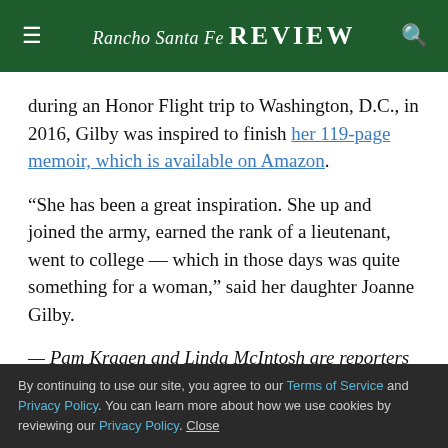Rancho Santa Fe Review
during an Honor Flight trip to Washington, D.C., in 2016, Gilby was inspired to finish her 119-page memoir, which is available on Amazon.
“She has been a great inspiration. She up and joined the army, earned the rank of a lieutenant, went to college — which in those days was quite something for a woman,” said her daughter Joanne Gilby.
— Pam Kragen and Linda McIntosh are reporters for
By continuing to use our site, you agree to our Terms of Service and Privacy Policy. You can learn more about how we use cookies by reviewing our Privacy Policy. Close